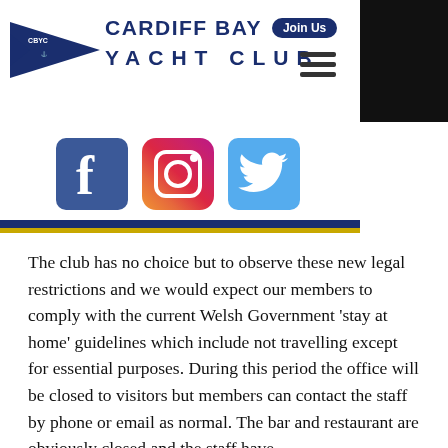[Figure (logo): Cardiff Bay Yacht Club logo with pennant/flag on the left, club name text and Join Us badge, hamburger menu icon, and a redacted black photo block in top right]
[Figure (other): Social media icons: Facebook (dark blue), Instagram (gradient orange/pink), Twitter (light blue)]
The club has no choice but to observe these new legal restrictions and we would expect our members to comply with the current Welsh Government 'stay at home' guidelines which include not travelling except for essential purposes. During this period the office will be closed to visitors but members can contact the staff by phone or email as normal. The bar and restaurant are obviously closed and the staff have